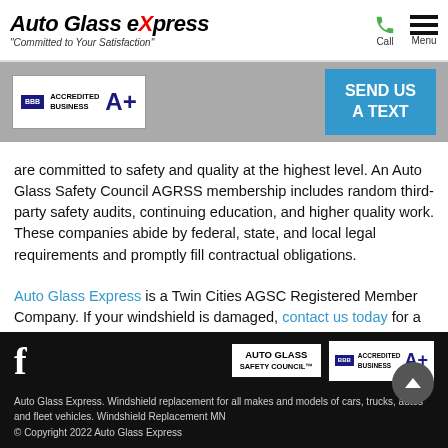Auto Glass eXpress "Committed to Your Satisfaction"
[Figure (logo): BBB Accredited Business A+ badge and SEND US A TEXT button on grey banner]
are committed to safety and quality at the highest level. An Auto Glass Safety Council AGRSS membership includes random third-party safety audits, continuing education, and higher quality work. These companies abide by federal, state, and local legal requirements and promptly fill contractual obligations.
Auto Glass Express is a Twin Cities AGSC Registered Member Company. If your windshield is damaged, contact us today for a repair quote.
Auto Glass Express. Windshield replacement for all makes and models of cars, trucks, autos and fleet vehicles. Windshield Replacement MN © Copyright 2022 Auto Glass Express